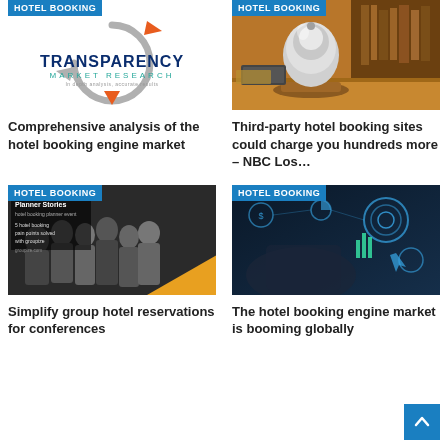[Figure (logo): Transparency Market Research logo with circular arrows graphic]
Comprehensive analysis of the hotel booking engine market
[Figure (photo): Hotel reception bell on wooden counter with blurred background]
Third-party hotel booking sites could charge you hundreds more – NBC Los…
[Figure (photo): Planner Stories hotel booking event image with group of people in black and white with orange accents]
Simplify group hotel reservations for conferences
[Figure (photo): Dark tech image showing digital analytics and booking interface with glowing icons]
The hotel booking engine market is booming globally